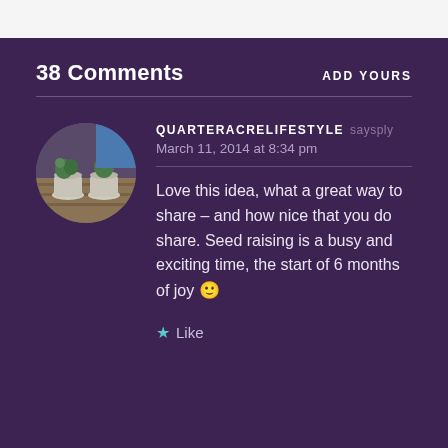38 Comments
ADD YOURS
[Figure (photo): Circular avatar photo of potted plants in decorative containers on a wooden surface]
QUARTERACRELIFESTYLE says
March 11, 2014 at 8:34 pm
Love this idea, what a great way to share – and how nice that you do share. Seed raising is a busy and exciting time, the start of 6 months of joy 🙂
Like